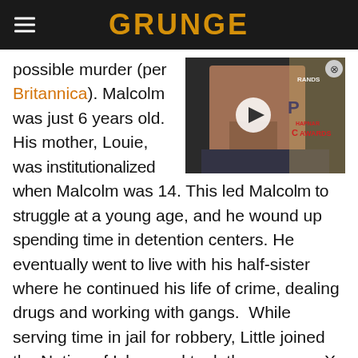GRUNGE
possible murder (per Britannica). Malcolm was just 6 years old. His mother, Louie, w[as institutionalized when] Malcolm was 14. This led Malco[lm to struggle at a] young age, and he wound up s[pending time in] detention centers. He eventual[ly went to live] with his half-sister where he continued his life of crime, dealing drugs and working with gangs. While serving time in jail for robbery, Little joined the Nation of Islam and took the surname X, as was the Nation's custom. He had been a good student and was incredibly intelligent. He read as many books as he could in the prison library and took debate classes, which helped to sharpen his incredible oratory skills.
[Figure (screenshot): Video thumbnail showing a tattooed man at what appears to be awards show, with a play button overlay and close button. Awards text visible in background.]